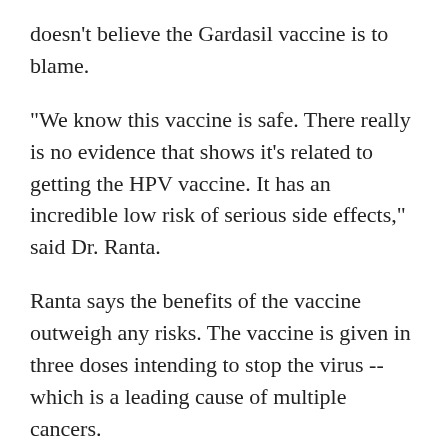doesn't believe the Gardasil vaccine is to blame.
"We know this vaccine is safe. There really is no evidence that shows it's related to getting the HPV vaccine. It has an incredible low risk of serious side effects," said Dr. Ranta.
Ranta says the benefits of the vaccine outweigh any risks. The vaccine is given in three doses intending to stop the virus -- which is a leading cause of multiple cancers.
"It's not a live virus. It's a portion of the virus. It allows your body to recognize the HPV germ in a non-infectious way and you build up antibodies," said Dr. Ranta.